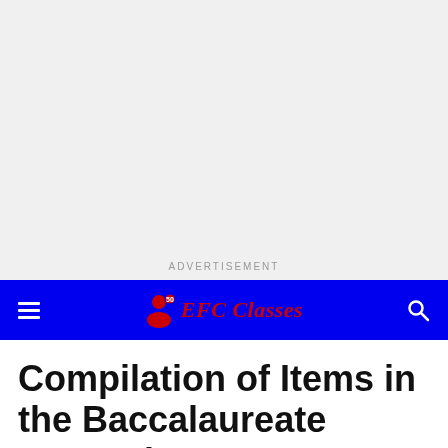[Figure (other): Gray advertisement placeholder area with 'ADVERTISEMENT' text label at the bottom center]
EFC Classes navigation bar with hamburger menu, EFC Classes logo, and search icon on blue background
Compilation of Items in the Baccalaureate Exams in